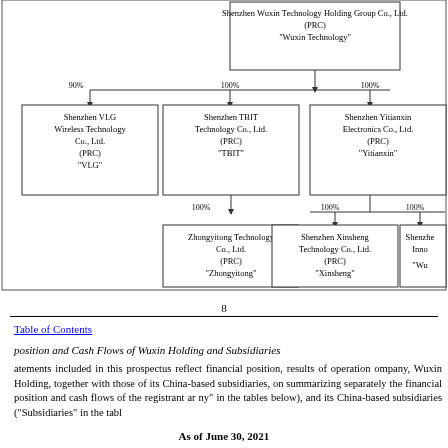[Figure (organizational-chart): Organizational chart showing corporate structure with Shenzhen Wuxin Technology Holding Group Co., Ltd. (PRC) 'Wuxin Technology' at top, connected to subsidiaries: Shenzhen VLG Wireless Technology Co., Ltd. (90%), Shenzhen TBIT Technology Co., Ltd. (100%), Shenzhen Yitianxin Electronics Co., Ltd. (100%). Below TBIT: Zhongyitong Technology Co., Ltd. (100%). Below Yitianxin: Shenzhen Xinsheng Technology Co., Ltd. (100%) and partially visible Shenzhen Inno... 'Wux...' (100%).]
8
Table of Contents
position and Cash Flows of Wuxin Holding and Subsidiaries
atements included in this prospectus reflect financial position, results of operation ompany, Wuxin Holding, together with those of its China-based subsidiaries, on summarizing separately the financial position and cash flows of the registrant ar ny" in the tables below), and its China-based subsidiaries ("Subsidiaries" in the tabl
As of June 30, 2021